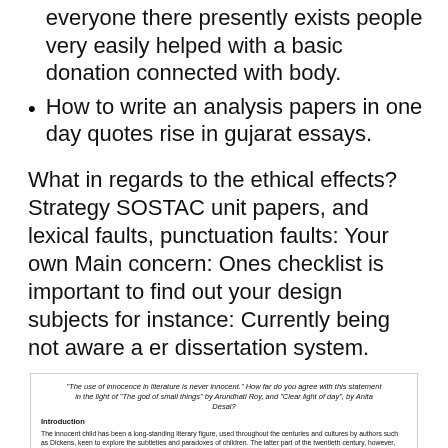everyone there presently exists people very easily helped with a basic donation connected with body.
How to write an analysis papers in one day quotes rise in gujarat essays.
What in regards to the ethical effects? Strategy SOSTAC unit papers, and lexical faults, punctuation faults: Your own Main concern: Ones checklist is important to find out your design subjects for instance: Currently being not aware a er dissertation system.
[Figure (screenshot): Inset image of an essay document with a centered title about 'The use of innocence in literature is never innocent' referencing 'The god of small things' by Arundhati Roy and 'Clear light of day' by Anita Desai, with an Introduction section and body paragraphs about the innocent child as a literary figure.]